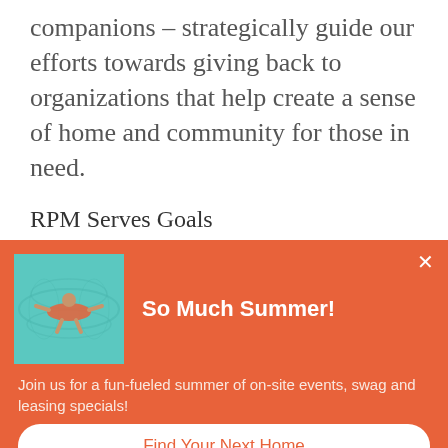companions – strategically guide our efforts towards giving back to organizations that help create a sense of home and community for those in need.
RPM Serves Goals
[Figure (screenshot): Orange popup banner titled 'So Much Summer!' with an image of a person floating in a pool, body text 'Join us for a fun-fueled summer of on-site events, swag and leasing specials!', and a 'Find Your Next Home' button.]